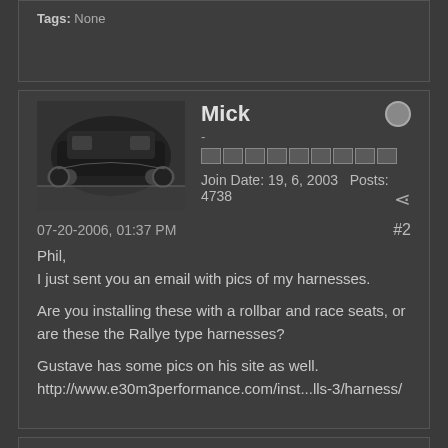Tags: None
Mick
-
Join Date: 19, 6, 2003   Posts: 4738
07-20-2006, 01:37 PM   #2
Phil,
I just sent you an email with pics of my harnesses.

Are you installing these with a rollbar and race seats, or are these the Rallye type harnesses?

Gustave has some pics on his site as well.
http://www.e30m3performance.com/inst...lls-3/harness/
JEDM3
gearhead